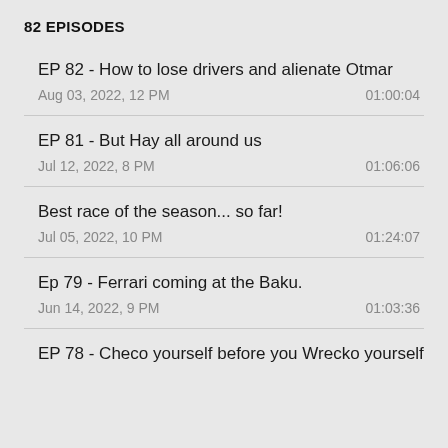82 EPISODES
EP 82 - How to lose drivers and alienate Otmar
Aug 03, 2022, 12 PM	01:00:04
EP 81 - But Hay all around us
Jul 12, 2022, 8 PM	01:06:06
Best race of the season... so far!
Jul 05, 2022, 10 PM	01:24:07
Ep 79 - Ferrari coming at the Baku.
Jun 14, 2022, 9 PM	01:03:36
EP 78 - Checo yourself before you Wrecko yourself
May [truncated]